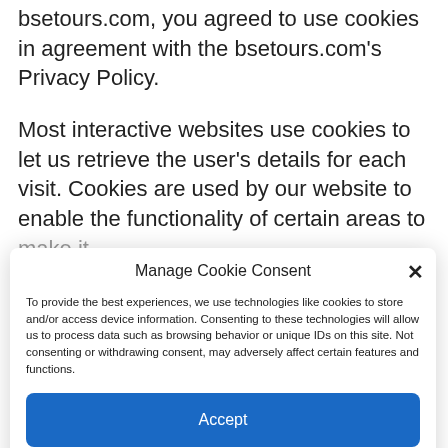bsetours.com, you agreed to use cookies in agreement with the bsetours.com's Privacy Policy.
Most interactive websites use cookies to let us retrieve the user's details for each visit. Cookies are used by our website to enable the functionality of certain areas to make it
Manage Cookie Consent
To provide the best experiences, we use technologies like cookies to store and/or access device information. Consenting to these technologies will allow us to process data such as browsing behavior or unique IDs on this site. Not consenting or withdrawing consent, may adversely affect certain features and functions.
Accept
Cookie Policy